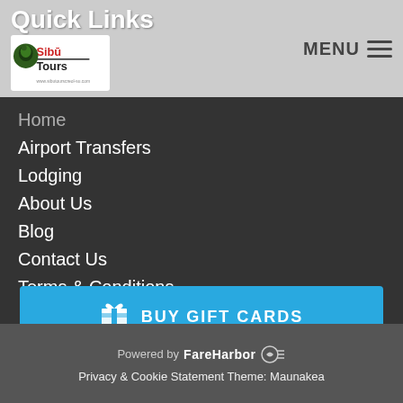Quick Links
[Figure (logo): Sibu Tours logo with animal illustration]
Home
Airport Transfers
Lodging
About Us
Blog
Contact Us
Terms & Conditions
BUY GIFT CARDS
Powered by FareHarbor  Privacy & Cookie Statement Theme: Maunakea